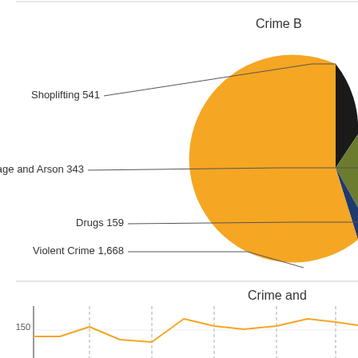[Figure (pie-chart): Crime B]
[Figure (line-chart): Line chart showing crime over time, y-axis showing value around 150]